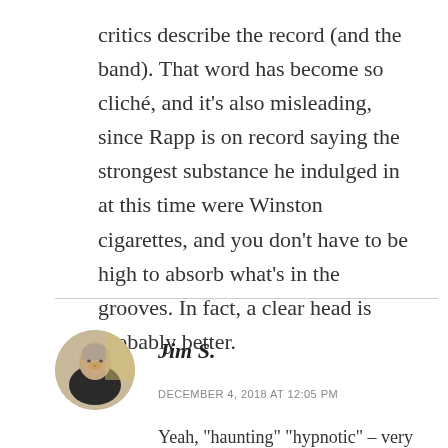critics describe the record (and the band). That word has become so cliché, and it's also misleading, since Rapp is on record saying the strongest substance he indulged in at this time were Winston cigarettes, and you don't have to be high to absorb what's in the grooves. In fact, a clear head is probably better.
[Figure (photo): Circular avatar photo of Jim S., an older man with short gray hair wearing a dark top, with a light/yellow background]
Jim S.
DECEMBER 4, 2018 AT 12:05 PM
Yeah, "haunting" "hypnotic" – very